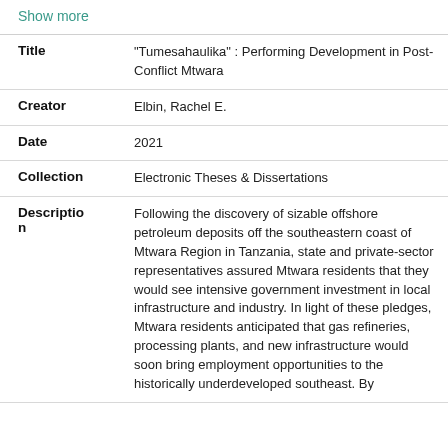Show more
| Title | "Tumesahaulika" : Performing Development in Post-Conflict Mtwara |
| Creator | Elbin, Rachel E. |
| Date | 2021 |
| Collection | Electronic Theses & Dissertations |
| Description | Following the discovery of sizable offshore petroleum deposits off the southeastern coast of Mtwara Region in Tanzania, state and private-sector representatives assured Mtwara residents that they would see intensive government investment in local infrastructure and industry. In light of these pledges, Mtwara residents anticipated that gas refineries, processing plants, and new infrastructure would soon bring employment opportunities to the historically underdeveloped southeast. By |